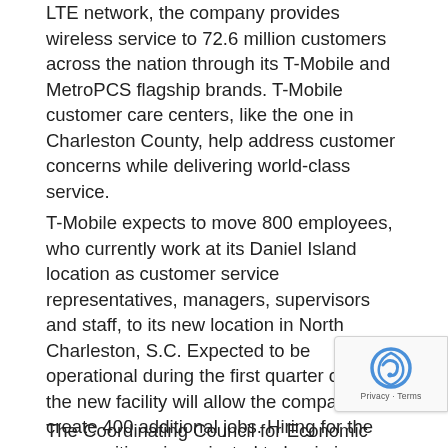LTE network, the company provides wireless service to 72.6 million customers across the nation through its T-Mobile and MetroPCS flagship brands. T-Mobile customer care centers, like the one in Charleston County, help address customer concerns while delivering world-class service.
T-Mobile expects to move 800 employees, who currently work at its Daniel Island location as customer service representatives, managers, supervisors and staff, to its new location in North Charleston, S.C. Expected to be operational during the first quarter of 2018, the new facility will allow the company to create 400 additional jobs. Hiring for the new positions is projected to begin in November 2017, and interested applicants should visit the company's careers page for more information.
The Coordinating Council for Economic Development